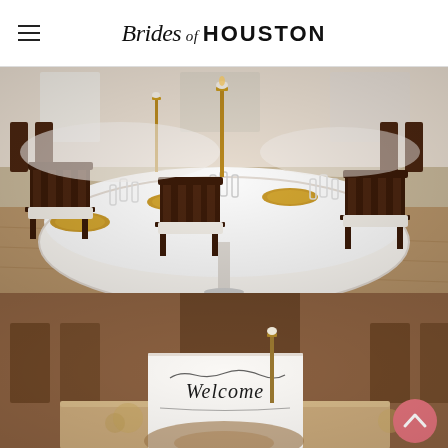Brides of Houston
[Figure (photo): Elegant wedding reception table setting with dark mahogany chiavari chairs surrounding a round table with white tablecloth, gold charger plates, crystal glassware, and tall candlestick centerpieces in a bright banquet hall.]
[Figure (photo): Wedding welcome sign in calligraphy script on a white card, partially visible, displayed on a table with floral decorations and dark chiavari chairs in background.]